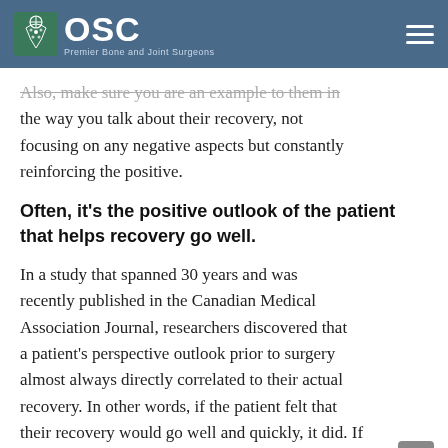OSC Premier Bone and Joint Surgeons
Also, make sure you are an example to them in the way you talk about their recovery, not focusing on any negative aspects but constantly reinforcing the positive.
Often, it’s the positive outlook of the patient that helps recovery go well.
In a study that spanned 30 years and was recently published in the Canadian Medical Association Journal, researchers discovered that a patient’s perspective outlook prior to surgery almost always directly correlated to their actual recovery. In other words, if the patient felt that their recovery would go well and quickly, it did. If they felt like it would be a long and dismal